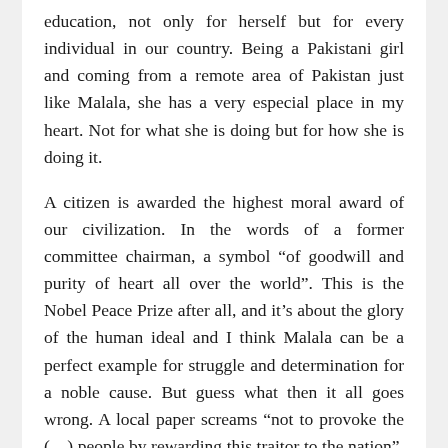education, not only for herself but for every individual in our country. Being a Pakistani girl and coming from a remote area of Pakistan just like Malala, she has a very especial place in my heart. Not for what she is doing but for how she is doing it.
A citizen is awarded the highest moral award of our civilization. In the words of a former committee chairman, a symbol “of goodwill and purity of heart all over the world”. This is the Nobel Peace Prize after all, and it’s about the glory of the human ideal and I think Malala can be a perfect example for struggle and determination for a noble cause. But guess what then it all goes wrong. A local paper screams “not to provoke the (…) people by rewarding this traitor to the nation”. Parts of the press call our hero a ‘puppet’ and ‘an